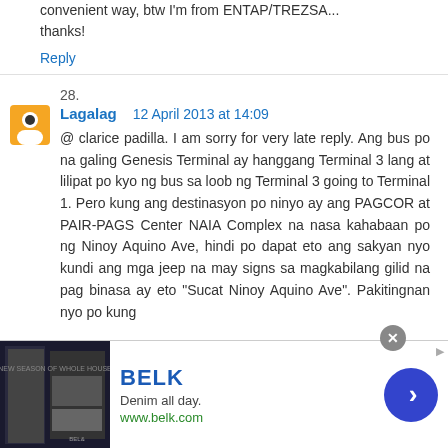convenient way, btw I'm from ENTAP/TREZSA... thanks!
Reply
28.
Lagalag   12 April 2013 at 14:09
@ clarice padilla. I am sorry for very late reply. Ang bus po na galing Genesis Terminal ay hanggang Terminal 3 lang at lilipat po kyo ng bus sa loob ng Terminal 3 going to Terminal 1. Pero kung ang destinasyon po ninyo ay ang PAGCOR at PAIR-PAGS Center NAIA Complex na nasa kahabaan po ng Ninoy Aquino Ave, hindi po dapat eto ang sakyan nyo kundi ang mga jeep na may signs sa magkabilang gilid na pag binasa ay eto "Sucat Ninoy Aquino Ave". Pakitingnan nyo po kung
[Figure (screenshot): Advertisement banner for BELK showing denim clothing with tagline 'Denim all day.' and website www.belk.com]